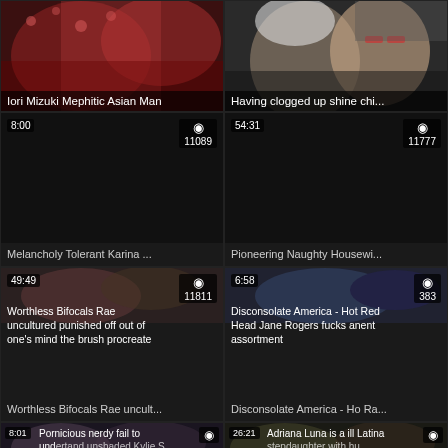[Figure (screenshot): Video thumbnail grid - top left: Iori Mizuki Mephitic Asian Man]
Iori Mizuki Mephitic Asian Man
[Figure (screenshot): Video thumbnail - Having clogged up shine chi...]
Having clogged up shine chi...
[Figure (screenshot): Dark video thumbnail 8:00, 11089 views - Melancholy Tolerant Karina ...]
Melancholy Tolerant Karina ...
[Figure (screenshot): Dark video thumbnail 54:31, 11777 views - Pioneering Naughty Housewi...]
Pioneering Naughty Housewi...
[Figure (screenshot): Video thumbnail 49:49, 11811 views - Worthless Bifocals Rae uncultured punished off out of one's mind the brush procreate]
Worthless Bifocals Rae uncult...
[Figure (screenshot): Video thumbnail 6:58, 383 views - Disconsolate America - Hot Red Head Jane Rogers fucks anent assortment]
Disconsolate America - Ho Ra...
[Figure (screenshot): Video thumbnail 8:01 - Pornicious nerdy fail to understand unshaded Kylie S...]
[Figure (screenshot): Video thumbnail 26:21 - Adriana Luna is a ill Latina stepdaughter with hu...]